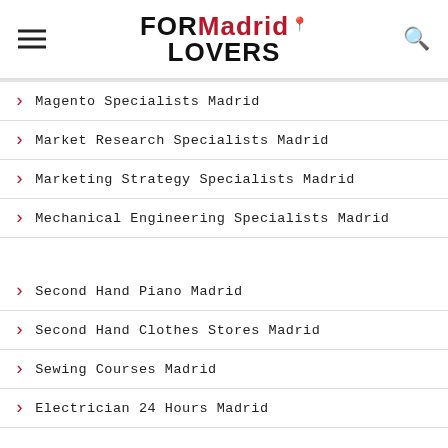FOR Madrid Lovers
Magento Specialists Madrid
Market Research Specialists Madrid
Marketing Strategy Specialists Madrid
Mechanical Engineering Specialists Madrid
Second Hand Piano Madrid
Second Hand Clothes Stores Madrid
Sewing Courses Madrid
Electrician 24 Hours Madrid